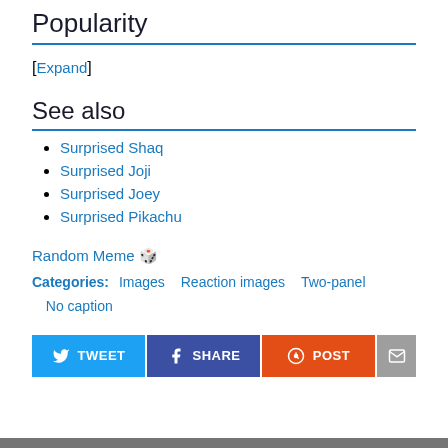Popularity
[Expand]
See also
Surprised Shaq
Surprised Joji
Surprised Joey
Surprised Pikachu
Random Meme 🎲
Categories: Images  Reaction images  Two-panel  No caption
[Figure (other): Social share buttons: TWEET, SHARE, POST, email]